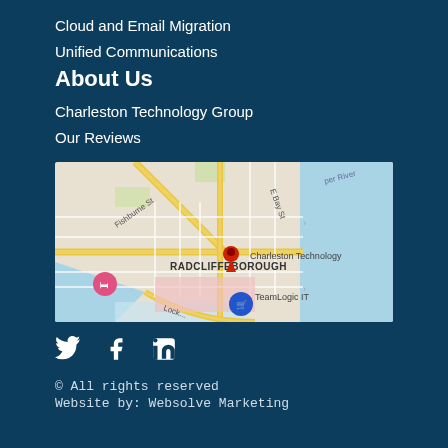Cloud and Email Migration
Unified Communications
About Us
Charleston Technology Group
Our Reviews
[Figure (map): Google Maps screenshot showing Radcliffeborough neighborhood in Charleston, SC, with a red location pin marking Charleston Technology Group. Surrounding streets include Fishburne St, E Bay St, and Lock St. The Cooper River is visible to the right. Other pins for TeamLogic IT and a hotel are also visible.]
[Figure (infographic): Social media icons: Twitter (bird), Facebook (f), LinkedIn (in)]
© All rights reserved
Website by: Websolve Marketing